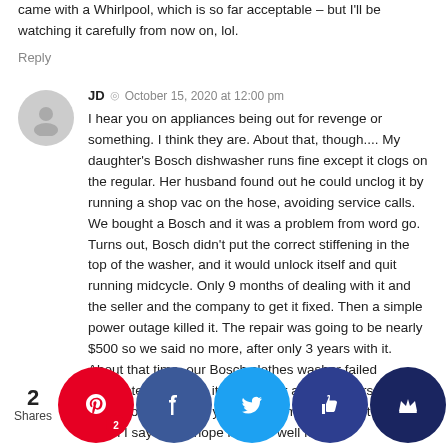came with a Whirlpool, which is so far acceptable – but I'll be watching it carefully from now on, lol.
Reply
JD  ◎  October 15, 2020 at 12:00 pm
I hear you on appliances being out for revenge or something. I think they are. About that, though.... My daughter's Bosch dishwasher runs fine except it clogs on the regular. Her husband found out he could unclog it by running a shop vac on the hose, avoiding service calls. We bought a Bosch and it was a problem from word go. Turns out, Bosch didn't put the correct stiffening in the top of the washer, and it would unlock itself and quit running midcycle. Only 9 months of dealing with it and the seller and the company to get it fixed. Then a simple power outage killed it. The repair was going to be nearly $500 so we said no more, after only 3 years with it. About that time, our Bosch clothes washer failed completely although it had run for about 8 years, at least. So.... good luck with yours, and I'm sincere, not snarky, when I say that. I hope it works well for a lo... time. ...hwashe... w a plai... old $30... a... ans gre... theor... any bu... provid...
2 Shares